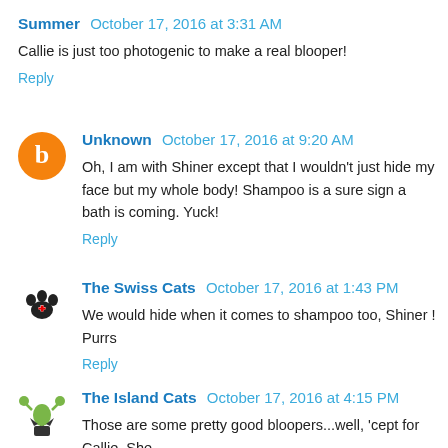Summer  October 17, 2016 at 3:31 AM
Callie is just too photogenic to make a real blooper!
Reply
Unknown  October 17, 2016 at 9:20 AM
Oh, I am with Shiner except that I wouldn't just hide my face but my whole body! Shampoo is a sure sign a bath is coming. Yuck!
Reply
The Swiss Cats  October 17, 2016 at 1:43 PM
We would hide when it comes to shampoo too, Shiner ! Purrs
Reply
The Island Cats  October 17, 2016 at 4:15 PM
Those are some pretty good bloopers...well, 'cept for Callie. She